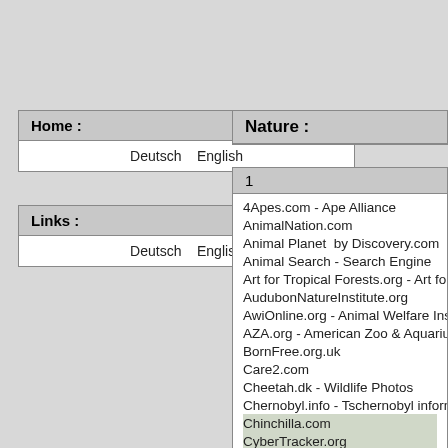| Home : |
| --- |
| Deutsch   English |
| Links : |
| --- |
| Deutsch   English |
| Nature : |
| --- |
| 1 |
| --- |
| 4Apes.com - Ape Alliance |
| AnimalNation.com |
| Animal Planet  by Discovery.com |
| Animal Search - Search Engine |
| Art for Tropical Forests.org - Art for Tropi |
| AudubonNatureInstitute.org |
| AwiOnline.org - Animal Welfare Institute |
| AZA.org - American Zoo & Aquarium Ass |
| BornFree.org.uk |
| Care2.com |
| Cheetah.dk - Wildlife Photos |
| Chernobyl.info - Tschernobyl information |
| Chinchilla.com |
| CyberTracker.org |
| EarthFirst.org |